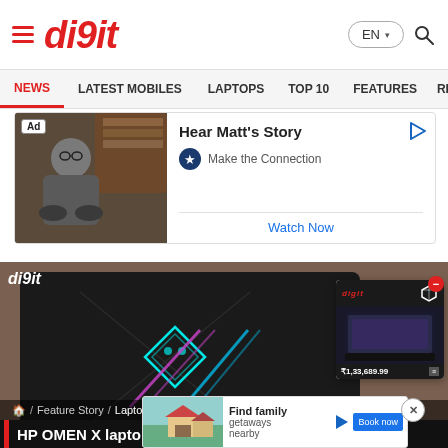digit — EN (language selector) — Search
NEWS | LATEST MOBILES | LAPTOPS | TOP 10 | FEATURES | REVIEWS
[Figure (photo): Advertisement banner: 'Ad' badge on a photo of a man sitting in a chair. Text: 'Hear Matt's Story', star badge, 'Make the Connection', 'Watch Now' button. Blue play icon top right.]
[Figure (photo): HP OMEN laptop lid shown from above on a tan/brown surface, with the OMEN logo (diamond skull) lit in teal and crossed colored light beams. Digit watermark top-left. Product popup overlay bottom-right showing a laptop at ₹1,33,689.99.]
🏠 / Feature Story / Laptops
HP OMEN X laptop first impression: The Best Gaming
[Figure (photo): Bottom advertisement overlay: image of a house/family scene. Text: 'Find family getaways nearby'. Blue button. Close X button.]